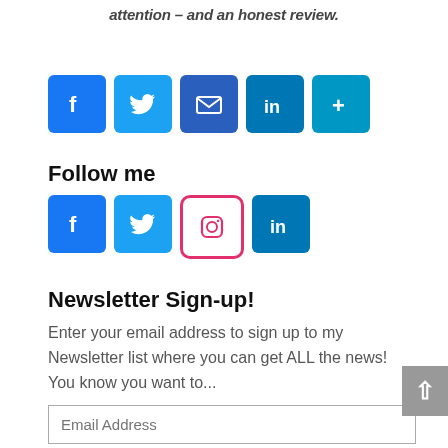attention – and an honest review.
[Figure (other): Social share buttons row: Facebook, Twitter, Email, LinkedIn, More(+)]
Follow me
[Figure (other): Follow me social icons: Facebook, Twitter, Instagram, LinkedIn]
Newsletter Sign-up!
Enter your email address to sign up to my Newsletter list where you can get ALL the news! You know you want to...
Email Address